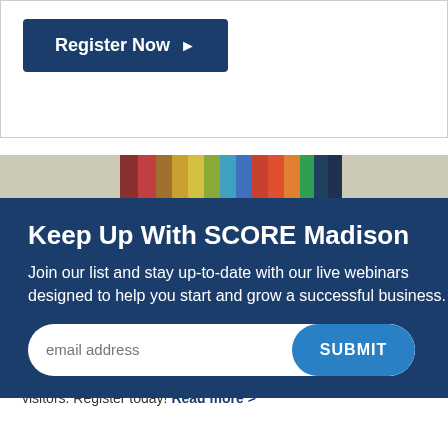[Figure (screenshot): Register Now button with dark blue background and white text with right-pointing arrow]
[Figure (photo): Background image showing colorful vertical bars artwork on a light background]
Keep Up With SCORE Madison
Join our list and stay up-to-date with our live webinars designed to help you start and grow a successful business.
email address [SUBMIT button]
Six Ways To Improve SEO on Your Website
September 27, 2022, 4:30pm CDT
Six ways to improve the SEO on your website and attract more visitors. Register today! Read more >